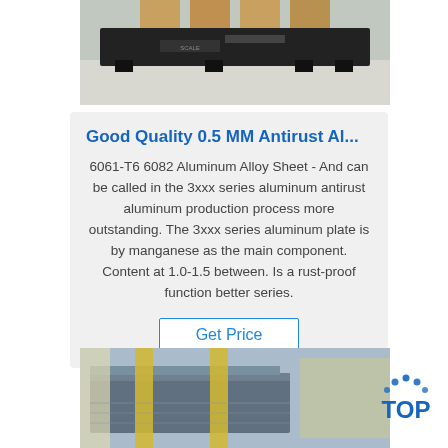[Figure (photo): Photo of a black metal platform or scale resting on a factory floor with wooden pallets in the background.]
Good Quality 0.5 MM Antirust Al...
6061-T6 6082 Aluminum Alloy Sheet - And can be called in the 3xxx series aluminum antirust aluminum production process more outstanding. The 3xxx series aluminum plate is by manganese as the main component. Content at 1.0-1.5 between. Is a rust-proof function better series.
Get Price
[Figure (photo): Photo of aluminum sheets or panels wrapped in protective yellow strapping on a pallet.]
[Figure (logo): TOP logo with dotted arc above the letters TOP in blue.]